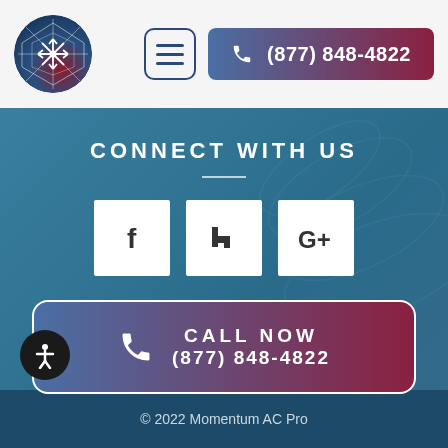[Figure (logo): Momentum AC Pro logo: circular badge with geometric snowflake design, blue and red tones]
(877) 848-4822
CONNECT WITH US
[Figure (infographic): Social media icons row: Facebook (f), Houzz (h), Google+ (G+) in white square boxes]
CALL NOW
(877) 848-4822
© 2022 Momentum AC Pro